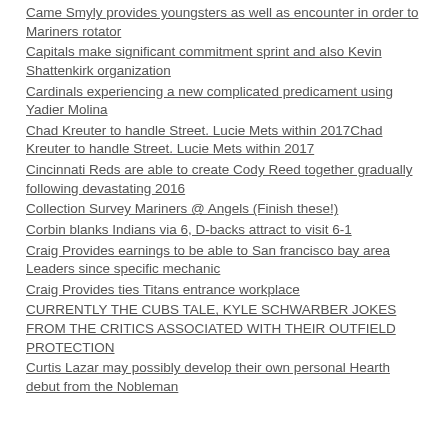Came Smyly provides youngsters as well as encounter in order to Mariners rotator
Capitals make significant commitment sprint and also Kevin Shattenkirk organization
Cardinals experiencing a new complicated predicament using Yadier Molina
Chad Kreuter to handle Street. Lucie Mets within 2017Chad Kreuter to handle Street. Lucie Mets within 2017
Cincinnati Reds are able to create Cody Reed together gradually following devastating 2016
Collection Survey Mariners @ Angels (Finish these!)
Corbin blanks Indians via 6, D-backs attract to visit 6-1
Craig Provides earnings to be able to San francisco bay area Leaders since specific mechanic
Craig Provides ties Titans entrance workplace
CURRENTLY THE CUBS TALE, KYLE SCHWARBER JOKES FROM THE CRITICS ASSOCIATED WITH THEIR OUTFIELD PROTECTION
Curtis Lazar may possibly develop their own personal Hearth debut from the Nobleman